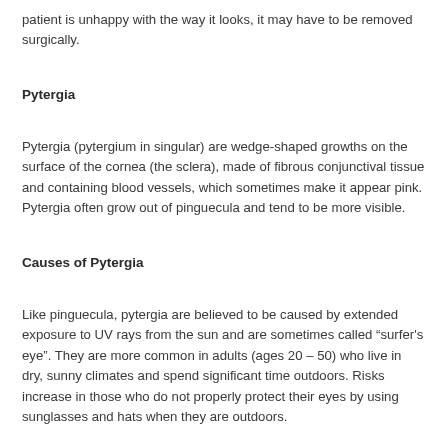patient is unhappy with the way it looks, it may have to be removed surgically.
Pytergia
Pytergia (pytergium in singular) are wedge-shaped growths on the surface of the cornea (the sclera), made of fibrous conjunctival tissue and containing blood vessels, which sometimes make it appear pink. Pytergia often grow out of pinguecula and tend to be more visible.
Causes of Pytergia
Like pinguecula, pytergia are believed to be caused by extended exposure to UV rays from the sun and are sometimes called “surfer's eye”. They are more common in adults (ages 20 – 50) who live in dry, sunny climates and spend significant time outdoors. Risks increase in those who do not properly protect their eyes by using sunglasses and hats when they are outdoors.
Symptoms of Pytergia